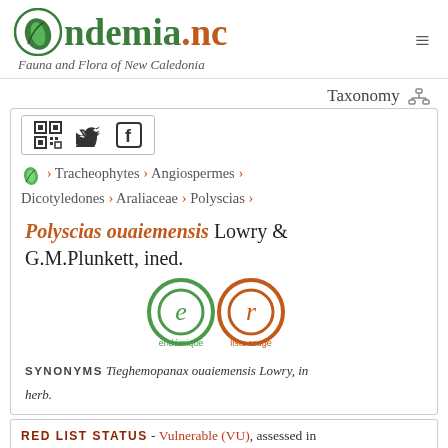endemia.nc — Fauna and Flora of New Caledonia
Taxonomy
[Figure (logo): QR code icon, Twitter bird icon, Facebook 'f' icon in a bordered box]
› Tracheophytes › Angiospermes › Dicotyledones › Araliaceae › Polyscias ›
Polyscias ouaiemensis Lowry & G.M.Plunkett, ined.
[Figure (logo): Two circular badges: 'e endémique' in green and 'r liste rouge' in orange]
SYNONYMS Tieghemopanax ouaiemensis Lowry, in herb.
RED LIST STATUS - Vulnerable (VU), assessed in 09/12/2016